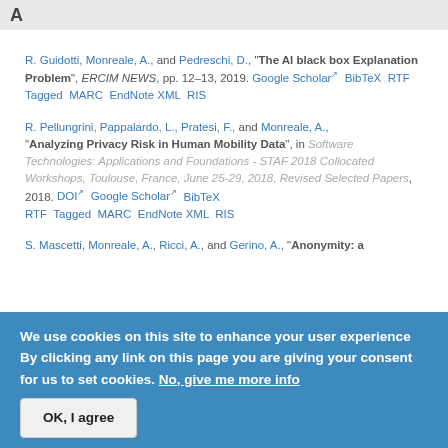A
R. Guidotti, Monreale, A., and Pedreschi, D., "The AI black box Explanation Problem", ERCIM NEWS, pp. 12–13, 2019. Google Scholar BibTeX RTF Tagged MARC EndNote XML RIS
R. Pellungrini, Pappalardo, L., Pratesi, F., and Monreale, A., "Analyzing Privacy Risk in Human Mobility Data", in Software Technologies: Applications and Foundations - STAF 2018 Collocated Workshops, Toulouse, France, June 25-29, 2018, Revised Selected Papers, 2018. DOI Google Scholar BibTeX RTF Tagged MARC EndNote XML RIS
S. Mascetti, Monreale, A., Ricci, A., and Gerino, A., "Anonymity: a
We use cookies on this site to enhance your user experience By clicking any link on this page you are giving your consent for us to set cookies. No, give me more info
OK, I agree